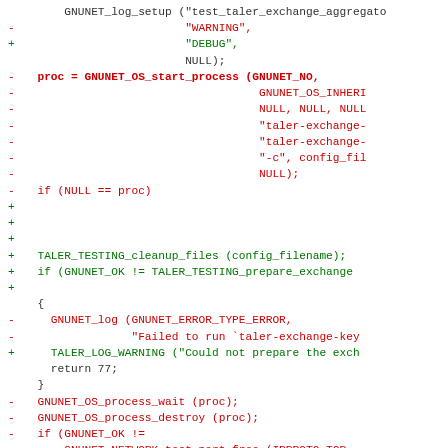[Figure (screenshot): Diff/patch code snippet showing changes to a C source file. Removed lines in red (prefixed with -), added lines in green (prefixed with +), context lines in dark gray. Content involves GNUNET log setup, process start, TALER_TESTING functions, error handling, and process cleanup.]